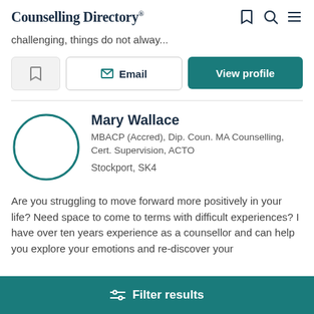Counselling Directory
challenging, things do not alway...
Email  View profile
Mary Wallace
MBACP (Accred), Dip. Coun. MA Counselling, Cert. Supervision, ACTO
Stockport, SK4
Are you struggling to move forward more positively in your life? Need space to come to terms with difficult experiences? I have over ten years experience as a counsellor and can help you explore your emotions and re-discover your
Filter results